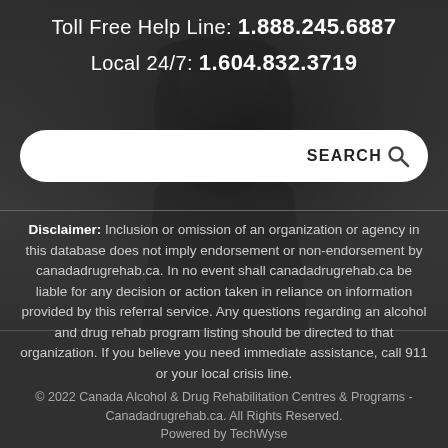Toll Free Help Line: 1.888.245.6887
Local 24/7: 1.604.832.3719
[Figure (screenshot): Search bar input with SEARCH button and magnifying glass icon on dark background]
Disclaimer: Inclusion or omission of an organization or agency in this database does not imply endorsement or non-endorsement by canadadrugrehab.ca. In no event shall canadadrugrehab.ca be liable for any decision or action taken in reliance on information provided by this referral service. Any questions regarding an alcohol and drug rehab program listing should be directed to that organization. If you believe you need immediate assistance, call 911 or your local crisis line.
© 2022 Canada Alcohol & Drug Rehabilitation Centres & Programs - Canadadrugrehab.ca. All Rights Reserved. Powered by TechWyse